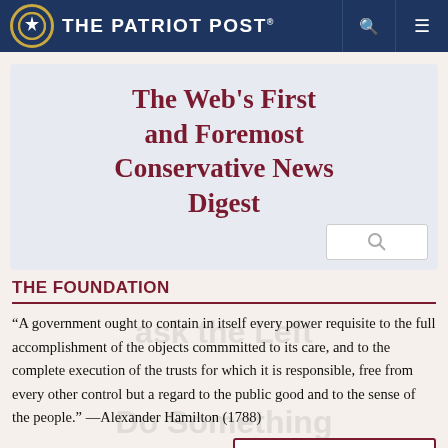The Patriot Post
The Web's First and Foremost Conservative News Digest
THE FOUNDATION
“A government ought to contain in itself every power requisite to the full accomplishment of the objects commmitted to its care, and to the complete execution of the trusts for which it is responsible, free from every other control but a regard to the public good and to the sense of the people.” —Alexander Hamilton (1788)
MORE FOUNDERS' QUOTES >